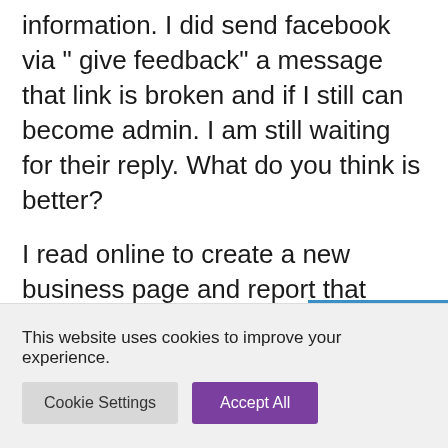information. I did send facebook via " give feedback" a message that link is broken and if I still can become admin. I am still waiting for their reply. What do you think is better?
I read online to create a new business page and report that unmanaged for copyright violence.
Thank you
This website uses cookies to improve your experience.